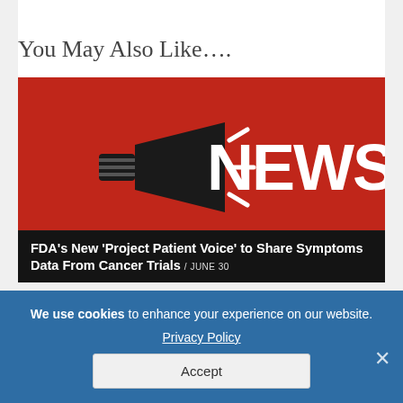You May Also Like….
[Figure (photo): News graphic with red background, megaphone icon and 'NEWS' text in white, with dark overlay at bottom showing article title]
FDA's New 'Project Patient Voice' to Share Symptoms Data From Cancer Trials / JUNE 30
We use cookies to enhance your experience on our website. Privacy Policy Accept